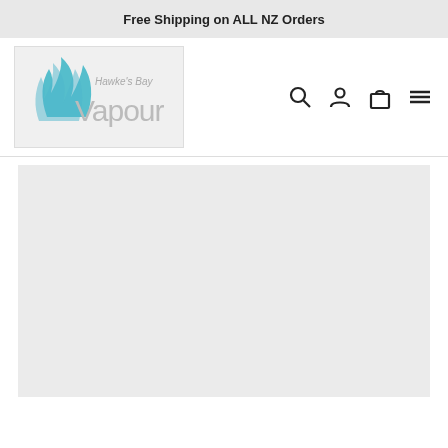Free Shipping on ALL NZ Orders
[Figure (logo): Hawke's Bay Vapour logo — stylized blue/teal wave on left, grey text 'Hawke's Bay' above large grey 'Vapour' text]
[Figure (other): Navigation icons: search (magnifying glass), user account (person silhouette), shopping bag, hamburger menu]
[Figure (other): Large light grey placeholder content area below navigation]